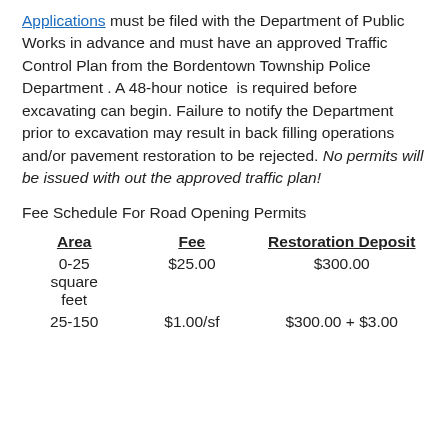Applications must be filed with the Department of Public Works in advance and must have an approved Traffic Control Plan from the Bordentown Township Police Department . A 48-hour notice  is required before excavating can begin. Failure to notify the Department prior to excavation may result in back filling operations and/or pavement restoration to be rejected. No permits will be issued with out the approved traffic plan!
Fee Schedule For Road Opening Permits
| Area | Fee | Restoration Deposit |
| --- | --- | --- |
| 0-25 square feet | $25.00 | $300.00 |
| 25-150 | $1.00/sf | $300.00 + $3.00 |